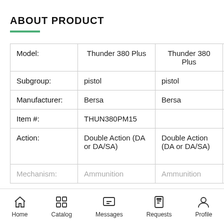ABOUT PRODUCT
|  | Thunder 380 Plus | Thunder 380 Plus | Thunder 380 Plus |
| --- | --- | --- | --- |
| Model: | Thunder 380 Plus | Thunder 380 Plus | Thunder 380 Plus |
| Subgroup: | pistol | pistol | pistol |
| Manufacturer: | Bersa | Bersa | Bersa |
| Item #: | THUN380PM15 |  |  |
| Action: | Double Action (DA or DA/SA) | Double Action (DA or DA/SA) | Double Action (DA or DA/SA) |
| Mechanism: | Ammunition | Ammunition | Ammunition |
Home  Catalog  Messages  Requests  Profile